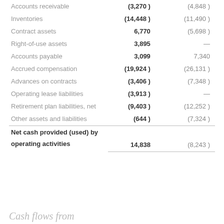|  | Col1 | Col2 |
| --- | --- | --- |
| Accounts receivable | (3,270 ) | (4,848 ) |
| Inventories | (14,448 ) | (11,490 ) |
| Contract assets | 6,770 | (5,698 ) |
| Right-of-use assets | 3,895 | — |
| Accounts payable | 3,099 | 7,340 |
| Accrued compensation | (19,924 ) | (26,131 ) |
| Advances on contracts | (3,406 ) | (7,348 ) |
| Operating lease liabilities | (3,913 ) | — |
| Retirement plan liabilities, net | (9,403 ) | (12,252 ) |
| Other assets and liabilities | (644 ) | (7,324 ) |
Net cash provided (used) by operating activities
|  | Col1 | Col2 |
| --- | --- | --- |
| operating activities | 14,838 | (8,243 ) |
Cash flows from